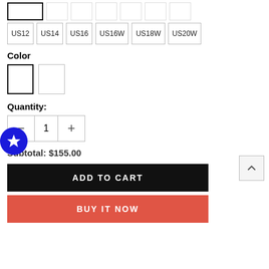[Figure (screenshot): Size selector buttons row 1 (partially visible selected button and empty buttons)]
[Figure (screenshot): Size selector row 2: US12, US14, US16, US16W, US18W, US20W]
Color
[Figure (screenshot): Color swatch selector: two white swatches, first selected (bold border)]
Quantity:
[Figure (screenshot): Quantity stepper showing minus button, value 1, plus button]
Subtotal: $155.00
[Figure (screenshot): ADD TO CART button (black)]
[Figure (screenshot): BUY IT NOW button (red/coral)]